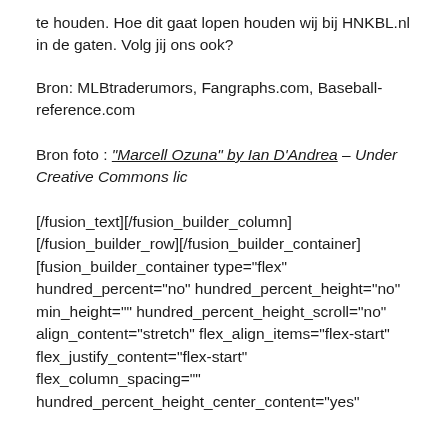te houden. Hoe dit gaat lopen houden wij bij HNKBL.nl in de gaten. Volg jij ons ook?
Bron: MLBtraderumors, Fangraphs.com, Baseball-reference.com
Bron foto : “Marcell Ozuna” by Ian D’Andrea – Under Creative Commons lic
[/fusion_text][/fusion_builder_column] [/fusion_builder_row][/fusion_builder_container] [fusion_builder_container type="flex" hundred_percent="no" hundred_percent_height="no" min_height="" hundred_percent_height_scroll="no" align_content="stretch" flex_align_items="flex-start" flex_justify_content="flex-start" flex_column_spacing="" hundred_percent_height_center_content="yes"